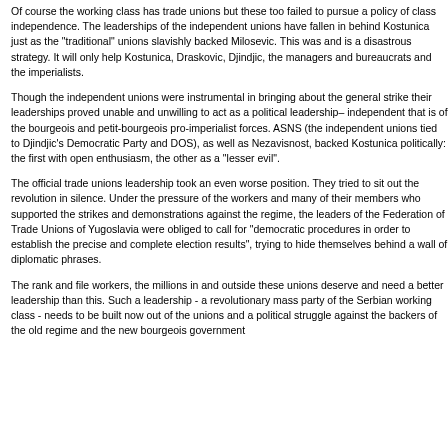Of course the working class has trade unions but these too failed to pursue a policy of class independence. The leaderships of the independent unions have fallen in behind Kostunica just as the "traditional" unions slavishly backed Milosevic. This was and is a disastrous strategy. It will only help Kostunica, Draskovic, Djindjic, the managers and bureaucrats and the imperialists.
Though the independent unions were instrumental in bringing about the general strike their leaderships proved unable and unwilling to act as a political leadership– independent that is of the bourgeois and petit-bourgeois pro-imperialist forces. ASNS (the independent unions tied to Djindjic's Democratic Party and DOS), as well as Nezavisnost, backed Kostunica politically: the first with open enthusiasm, the other as a "lesser evil".
The official trade unions leadership took an even worse position. They tried to sit out the revolution in silence. Under the pressure of the workers and many of their members who supported the strikes and demonstrations against the regime, the leaders of the Federation of Trade Unions of Yugoslavia were obliged to call for "democratic procedures in order to establish the precise and complete election results", trying to hide themselves behind a wall of diplomatic phrases.
The rank and file workers, the millions in and outside these unions deserve and need a better leadership than this. Such a leadership - a revolutionary mass party of the Serbian working class - needs to be built now out of the unions and a political struggle against the backers of the old regime and the new bourgeois government